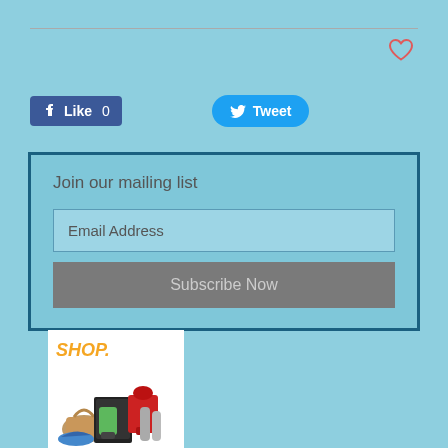[Figure (screenshot): Social media share buttons: Facebook Like (count 0) and Twitter Tweet buttons on a light blue background with a heart icon and horizontal divider line at top]
Join our mailing list
Email Address
Subscribe Now
[Figure (illustration): Shop advertisement with orange 'SHOP.' text and product images including shoes, a bag, a mixer, a blender, and other items on a white background]